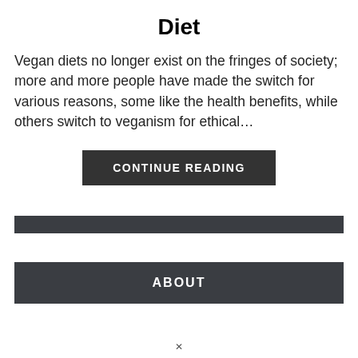Diet
Vegan diets no longer exist on the fringes of society; more and more people have made the switch for various reasons, some like the health benefits, while others switch to veganism for ethical...
[Figure (other): Dark rectangular button with white uppercase text reading CONTINUE READING]
[Figure (other): Dark horizontal banner bar]
[Figure (other): Dark horizontal banner bar with white uppercase text reading ABOUT]